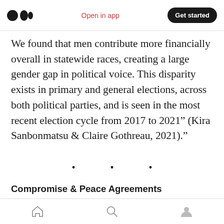Medium app header — Open in app | Get started
We found that men contribute more financially overall in statewide races, creating a large gender gap in political voice. This disparity exists in primary and general elections, across both political parties, and is seen in the most recent election cycle from 2017 to 2021” (Kira Sanbonmatsu & Claire Gothreau, 2021).”
·  ·  ·
Compromise & Peace Agreements
It is increasingly acknowledged that the
Home | Search | Profile